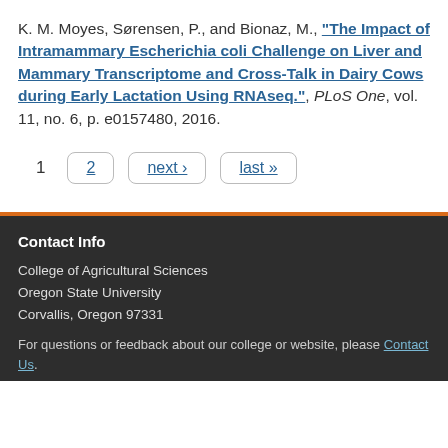K. M. Moyes, Sørensen, P., and Bionaz, M., "The Impact of Intramammary Escherichia coli Challenge on Liver and Mammary Transcriptome and Cross-Talk in Dairy Cows during Early Lactation Using RNAseq.", PLoS One, vol. 11, no. 6, p. e0157480, 2016.
1  2  next ›  last »
Contact Info
College of Agricultural Sciences
Oregon State University
Corvallis, Oregon 97331
For questions or feedback about our college or website, please Contact Us.